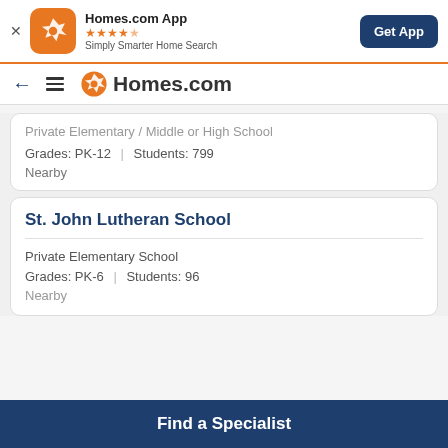Homes.com App — ★★★★½ — Simply Smarter Home Search — Get App
← ☰ Homes.com
Private Elementary/Middle or High School
Grades: PK-12 | Students: 799
Nearby
St. John Lutheran School
Private Elementary School
Grades: PK-6 | Students: 96
Nearby
Find a Specialist